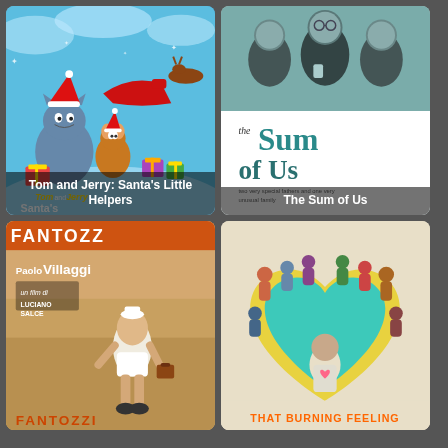[Figure (photo): Tom and Jerry: Santa's Little Helpers movie poster - animated cartoon with Tom, Jerry, Santa, reindeer on colorful Christmas background]
Tom and Jerry: Santa's Little Helpers
[Figure (photo): The Sum of Us movie poster - black and white photo of men at a bar, with 'the Sum of Us' text overlay]
The Sum of Us
[Figure (photo): Fantozzi movie poster - Paolo Villaggio, un film di Luciano Salce, man on beach in white shorts]
[Figure (photo): That Burning Feeling movie poster - group of people in a heart shape on cream background with teal/yellow design, THAT BURNING FEELING text at bottom]